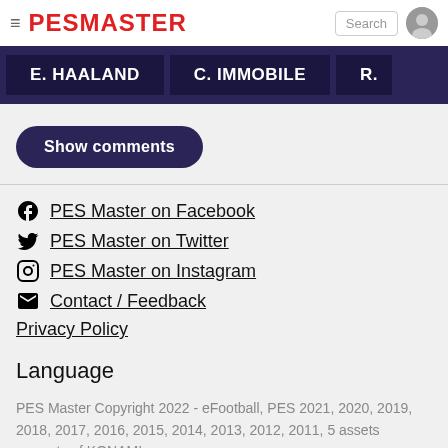PESMASTER
[Figure (screenshot): Player banner showing E. HAALAND, C. IMMOBILE, R. (partial)]
Show comments
PES Master on Facebook
PES Master on Twitter
PES Master on Instagram
Contact / Feedback
Privacy Policy
Language
PES Master Copyright 2022 - eFootball, PES 2021, 2020, 2019, 2018, 2017, 2016, 2015, 2014, 2013, 2012, 2011, 5 assets property of KONAMI.